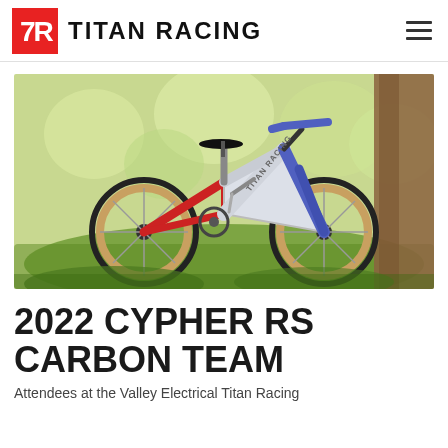TITAN RACING
[Figure (photo): A Titan Racing 2022 Cypher RS Carbon Team mountain bike photographed outdoors in a garden/green setting. The bike features a tricolor scheme: red rear triangle, white/silver main frame with 'TITAN RACING' text, and blue front fork and handlebars. It has large knobby tires with tan sidewalls.]
2022 CYPHER RS CARBON TEAM
Attendees at the Valley Electrical Titan Racing